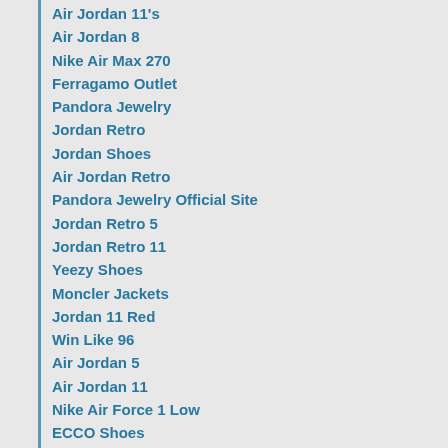Air Jordan 11's
Air Jordan 8
Nike Air Max 270
Ferragamo Outlet
Pandora Jewelry
Jordan Retro
Jordan Shoes
Air Jordan Retro
Pandora Jewelry Official Site
Jordan Retro 5
Jordan Retro 11
Yeezy Shoes
Moncler Jackets
Jordan 11 Red
Win Like 96
Air Jordan 5
Air Jordan 11
Nike Air Force 1 Low
ECCO Shoes
Pandora Ring
Golden Goose Sneakers
Pandora
Jordan Retro 10
Jordan Sneakers
Jordans 11